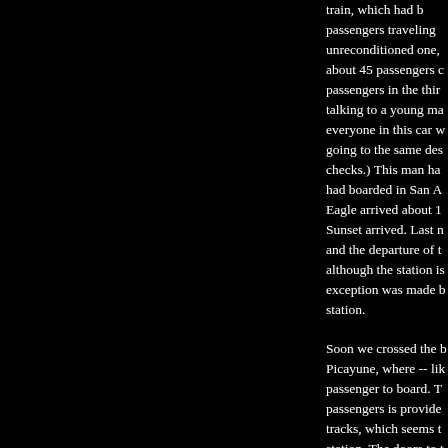train, which had ... passengers traveling ... unreconditioned one, about 45 passengers ... passengers in the third ... talking to a young ma... everyone in this car w... going to the same des... checks.) This man ha... had boarded in San A... Eagle arrived about 1... Sunset arrived. Last n... and the departure of t... although the station i... exception was made b... station.

Soon we crossed the ... Picayune, where -- lik... passenger to board. T... passengers is provide... tracks, which seems t... station. The doors to ... minutes while a freig... to the left. When we ... late.